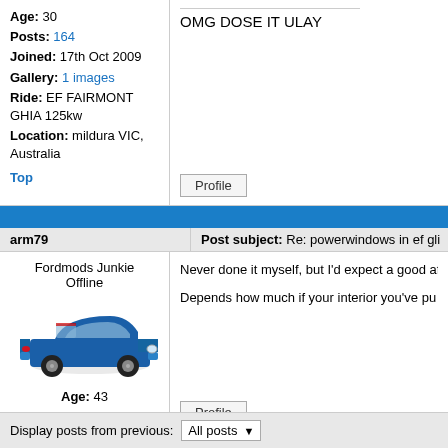Age: 30
Posts: 164
Joined: 17th Oct 2009
Gallery: 1 images
Ride: EF FAIRMONT GHIA 125kw
Location: mildura VIC, Australia
OMG DOSE IT ULAY
Top
Profile
arm79
Post subject: Re: powerwindows in ef gli
Fordmods Junkie
Offline
[Figure (photo): Blue Kia Rio hatchback car]
Age: 43
Posts: 5051
Joined: 5th Nov 2004
Ride: Kia Rio - 1.4L Auto
Power: 238 rwkw
Location: Westside VIC, Australia
Never done it myself, but I'd expect a good af
Depends how much if your interior you've pu
Top
Profile
Display posts from previous:
All posts